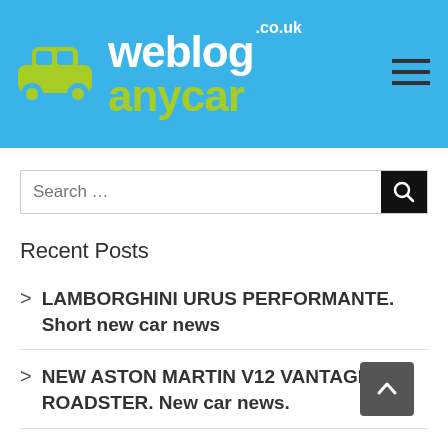[Figure (logo): weblog anycar .co.uk logo with green car icon on blue background header bar]
Search …
Recent Posts
LAMBORGHINI URUS PERFORMANTE. Short new car news
NEW ASTON MARTIN V12 VANTAGE ROADSTER. New car news.